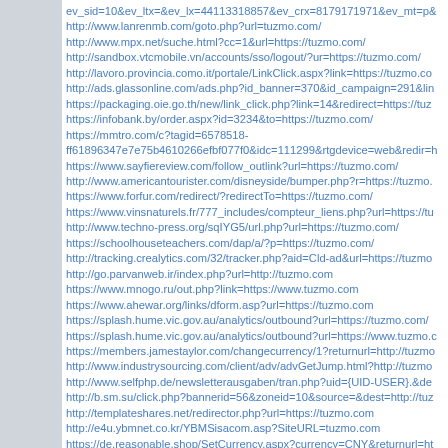ev_sid=10&ev_ltx=&ev_lx=44113318857&ev_crx=8179171971&ev_mt=p&...
http://www.lanrenmb.com/goto.php?url=tuzmo.com/
http://www.mpx.net/suche.html?cc=1&url=https://tuzmo.com/
http://sandbox.vtcmobile.vn/accounts/sso/logout/?ur=https://tuzmo.com/
http://lavoro.provincia.como.it/portale/LinkClick.aspx?link=https://tuzmo.co...
http://ads.glassonline.com/ads.php?id_banner=370&id_campaign=291&lin...
https://packaging.oie.go.th/new/link_click.php?link=14&redirect=https://tuz...
https://infobank.by/order.aspx?id=3234&to=https://tuzmo.com/
https://mmtro.com/c?tagid=6578518-ff61896347e7e75b4610266efbf077f0&idc=111299&rtgdevice=web&redir=h...
https://www.sayfiereview.com/follow_outlink?url=https://tuzmo.com/
http://www.americantourister.com/disneyside/bumper.php?r=https://tuzmo....
https://www.forfur.com/redirect/?redirectTo=https://tuzmo.com/
https://www.vinsnaturels.fr/777_includes/compteur_liens.php?url=https://tu...
http://www.techno-press.org/sqIYG5/url.php?url=https://tuzmo.com/
https://schoolhouseteachers.com/dap/a/?p=https://tuzmo.com/
http://tracking.crealytics.com/32/tracker.php?aid=Cld-ad&url=https://tuzmo...
http://go.parvanweb.ir/index.php?url=http://tuzmo.com
https://www.mnogo.ru/out.php?link=https://www.tuzmo.com
https://www.ahewar.org/links/dform.asp?url=https://tuzmo.com
https://splash.hume.vic.gov.au/analytics/outbound?url=https://tuzmo.com/
https://splash.hume.vic.gov.au/analytics/outbound?url=https://www.tuzmo.c...
https://members.jamestaylor.com/changecurrency/1?returnurl=http://tuzmo...
http://www.industrysourcing.com/client/adv/advGetJump.html?http://tuzmo...
http://www.selfphp.de/newsletterausgaben/tran.php?uid={UID-USER}.&de...
http://b.sm.su/click.php?bannerid=56&zoneid=10&source=&dest=http://tuz...
http://templateshares.net/redirector.php?url=https://tuzmo.com
http://e4u.ybmnet.co.kr/YBMSisacom.asp?SiteURL=tuzmo.com
https://de.reasonable.shop/SetCurrency.aspx?currency=CNY&returnurl=ht...
http://library.sust.edu/cgi-bin/koha/tracklinks.pl?uri=//tuzmo.com
https://portals.clio.me/se/historia/7-9/sso/logout/?redirectUrl=http://tuzmo.c...
http://go.e-frontier.co.jp/rd2.php?uri=http://tuzmo.com